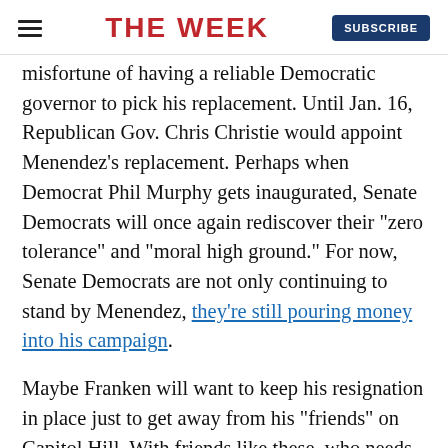THE WEEK
misfortune of having a reliable Democratic governor to pick his replacement. Until Jan. 16, Republican Gov. Chris Christie would appoint Menendez's replacement. Perhaps when Democrat Phil Murphy gets inaugurated, Senate Democrats will once again rediscover their "zero tolerance" and "moral high ground." For now, Senate Democrats are not only continuing to stand by Menendez, they're still pouring money into his campaign.
Maybe Franken will want to keep his resignation in place just to get away from his "friends" on Capitol Hill. With friends like these, who needs Republicans?